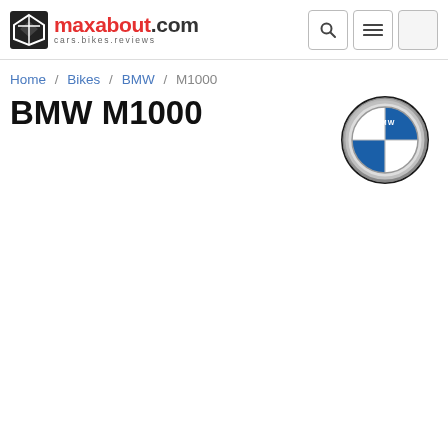maxabout.com cars.bikes.reviews
Home / Bikes / BMW / M1000
BMW M1000
[Figure (logo): BMW circular logo with blue and white quadrants and chrome ring]